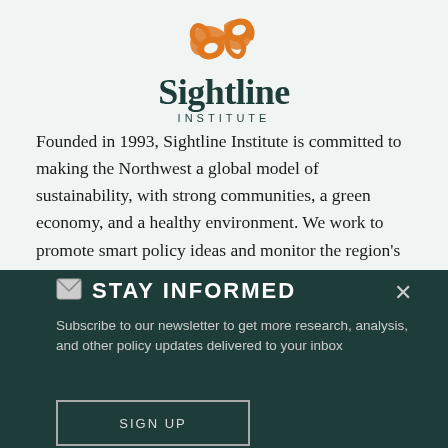[Figure (logo): Sightline Institute logo with orange infinity/loop symbol above the wordmark 'Sightline INSTITUTE']
Founded in 1993, Sightline Institute is committed to making the Northwest a global model of sustainability, with strong communities, a green economy, and a healthy environment. We work to promote smart policy ideas and monitor the region's progress towards sustainability. Sightline Institute is non-partisan and does not oppose, support, or endorse any political candidate or party.
STAY INFORMED
Subscribe to our newsletter to get more research, analysis, and other policy updates delivered to your inbox
SIGN UP